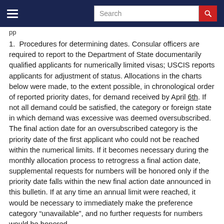Search
pp
1.  Procedures for determining dates. Consular officers are required to report to the Department of State documentarily qualified applicants for numerically limited visas; USCIS reports applicants for adjustment of status. Allocations in the charts below were made, to the extent possible, in chronological order of reported priority dates, for demand received by April 6th. If not all demand could be satisfied, the category or foreign state in which demand was excessive was deemed oversubscribed. The final action date for an oversubscribed category is the priority date of the first applicant who could not be reached within the numerical limits. If it becomes necessary during the monthly allocation process to retrogress a final action date, supplemental requests for numbers will be honored only if the priority date falls within the new final action date announced in this bulletin. If at any time an annual limit were reached, it would be necessary to immediately make the preference category “unavailable”, and no further requests for numbers would be honored.